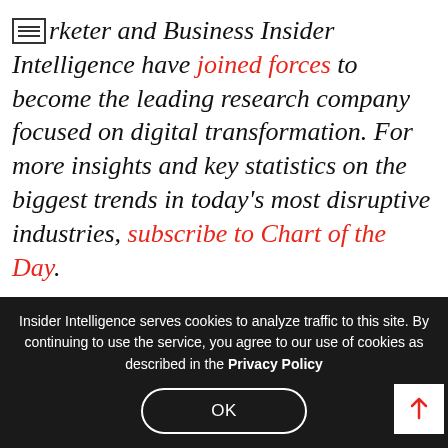rketer and Business Insider Intelligence have joined forces to become the leading research company focused on digital transformation. For more insights and key statistics on the biggest trends in today's most disruptive industries, subscribe to Chart of the Day.
[Figure (infographic): Row of four social sharing icon circles: email (red), LinkedIn (dark blue), Twitter (light blue), Facebook (dark blue/purple)]
[Figure (screenshot): Dark background chart preview image, partially visible at bottom]
Insider Intelligence serves cookies to analyze traffic to this site. By continuing to use the service, you agree to our use of cookies as described in the Privacy Policy
OK